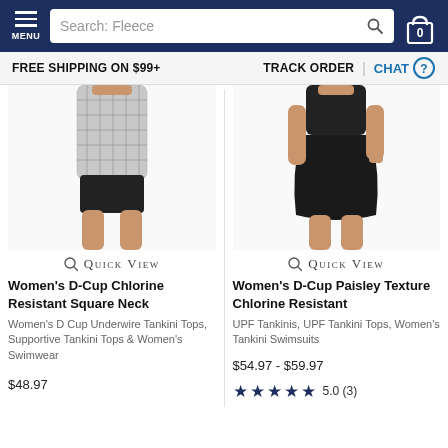MENU | Search: Fleece | 0
FREE SHIPPING ON $99+   TRACK ORDER | CHAT
[Figure (photo): Women's D-Cup Chlorine Resistant Square Neck tankini top, cropped torso view showing plaid/checkered top with black bikini bottom]
QUICK VIEW
Women's D-Cup Chlorine Resistant Square Neck
Women's D Cup Underwire Tankini Tops, Supportive Tankini Tops & Women's Swimwear
$48.97
[Figure (photo): Women's D-Cup Paisley Texture Chlorine Resistant swimsuit, cropped torso view showing dark/black one-piece or skirt style]
QUICK VIEW
Women's D-Cup Paisley Texture Chlorine Resistant
UPF Tankinis, UPF Tankini Tops, Women's Tankini Swimsuits
$54.97 - $59.97
5.0 (3)